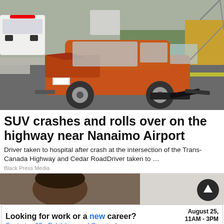[Figure (photo): Orange SUV crashed and rolled on a highway, front end damaged, debris on road, police vehicles and crane in background]
SUV crashes and rolls over on the highway near Nanaimo Airport
Driver taken to hospital after crash at the intersection of the Trans-Canada Highway and Cedar RoadDriver taken to …
Black Press Media
[Figure (photo): Partial view of a person and grey background, bottom section of news article page]
Looking for work or a new career? August 25, 11AM - 3PM Featuring 25+ Exhibitors and Growing! CLICK HERE